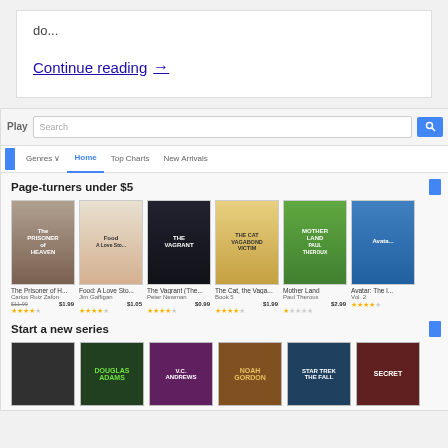do...
Continue reading →
[Figure (screenshot): Google Play Books screenshot showing 'Page-turners under $5' section with book covers: The Prisoner of Heaven (Carlos Ruiz Zafon), Food: A Love Story (Jim Gaffigan), The Vagrant (Peter Newman), The Cat the Vagabond (Book 5), Mother Land (Paul Theroux), Avatar; and 'Start a new series' section with book covers below.]